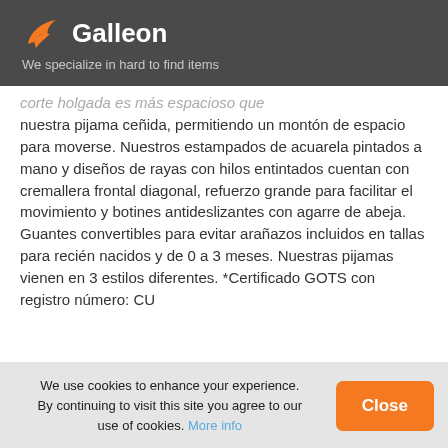[Figure (logo): Galleon logo with orange bird/wave icon and white 'Galleon' text on dark grey background]
We specialize in hard to find items
corte holgada es más espacioso que nuestra pijama ceñida, permitiendo un montón de espacio para moverse. Nuestros estampados de acuarela pintados a mano y diseños de rayas con hilos entintados cuentan con cremallera frontal diagonal, refuerzo grande para facilitar el movimiento y botines antideslizantes con agarre de abeja. Guantes convertibles para evitar arañazos incluidos en tallas para recién nacidos y de 0 a 3 meses. Nuestras pijamas vienen en 3 estilos diferentes. *Certificado GOTS con registro número: CU
We use cookies to enhance your experience. By continuing to visit this site you agree to our use of cookies. More info